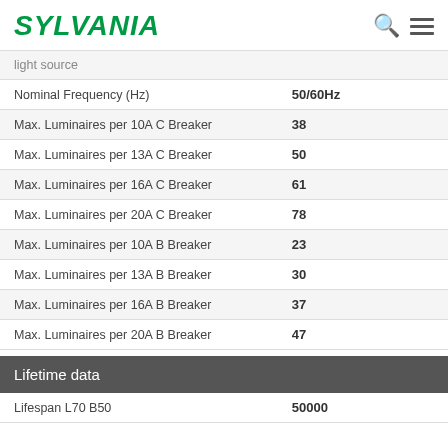SYLVANIA
| Property | Value |
| --- | --- |
| light source |  |
| Nominal Frequency (Hz) | 50/60Hz |
| Max. Luminaires per 10A C Breaker | 38 |
| Max. Luminaires per 13A C Breaker | 50 |
| Max. Luminaires per 16A C Breaker | 61 |
| Max. Luminaires per 20A C Breaker | 78 |
| Max. Luminaires per 10A B Breaker | 23 |
| Max. Luminaires per 13A B Breaker | 30 |
| Max. Luminaires per 16A B Breaker | 37 |
| Max. Luminaires per 20A B Breaker | 47 |
Lifetime data
| Property | Value |
| --- | --- |
| Lifespan L70 B50 | 50000 |